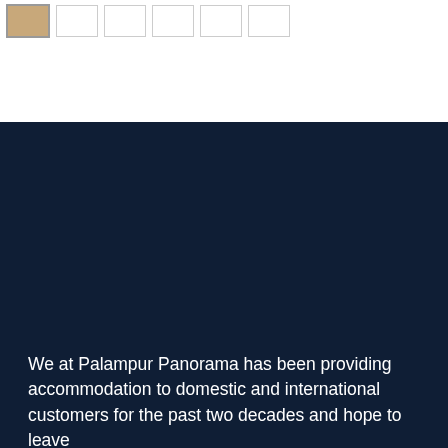[Figure (photo): Thumbnail image strip at top: one active tan/beige colored thumbnail followed by five empty white outlined thumbnails]
[Figure (photo): Large dark navy background section occupying the lower two-thirds of the page]
We at Palampur Panorama has been providing accommodation to domestic and international customers for the past two decades and hope to leave